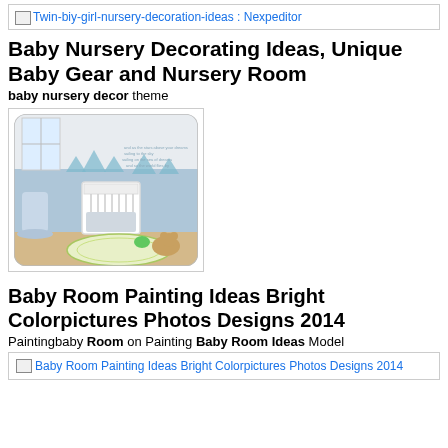[Figure (screenshot): Broken image link: Twin-biy-girl-nursery-decoration-ideas : Nexpeditor]
Baby Nursery Decorating Ideas, Unique Baby Gear and Nursery Room
baby nursery decor theme
[Figure (photo): Nursery room with blue painted walls, sailboat decorations, white crib, rocking chair, and oval rug]
Baby Room Painting Ideas Bright Colorpictures Photos Designs 2014
Paintingbaby Room on Painting Baby Room Ideas Model
[Figure (screenshot): Broken image link: Baby Room Painting Ideas Bright Colorpictures Photos Designs 2014]